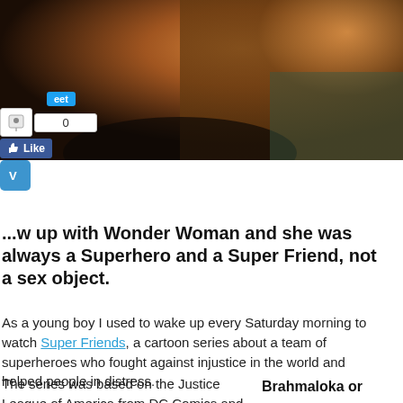[Figure (photo): Photo of Wonder Woman character in golden/amber lighting, showing upper body in costume]
[Figure (screenshot): Social media sharing buttons overlay: Tweet button, share count (0), Pinterest pin icon, Facebook Like button, Venmo button]
...w up with Wonder Woman and she was always a Superhero and a Super Friend, not a sex object.
As a young boy I used to wake up every Saturday morning to watch Super Friends, a cartoon series about a team of superheroes who fought against injustice in the world and helped people in distress.
The series was based on the Justice League of America from DC Comics and its main
Brahmaloka or